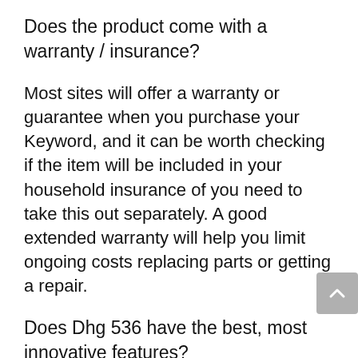Does the product come with a warranty / insurance?
Most sites will offer a warranty or guarantee when you purchase your Keyword, and it can be worth checking if the item will be included in your household insurance of you need to take this out separately. A good extended warranty will help you limit ongoing costs replacing parts or getting a repair.
Does Dhg 536 have the best, most innovative features?
As with prices, it is important to compare the features of potential products that suit your budget. Technology is constantly developing,